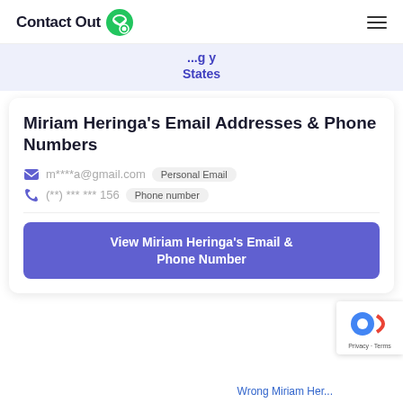ContactOut
States
Miriam Heringa's Email Addresses & Phone Numbers
m****a@gmail.com  Personal Email
(**) *** *** 156  Phone number
View Miriam Heringa's Email & Phone Number
Wrong Miriam Her...